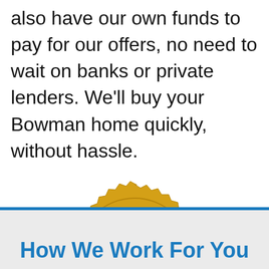also have our own funds to pay for our offers, no need to wait on banks or private lenders. We'll buy your Bowman home quickly, without hassle.
[Figure (illustration): Gold and black circular badge with serrated edge reading 'CUSTOMER SATISFACTION' around the top arc, '100%' in large text in the center, and a red ribbon banner at the bottom reading 'GUARANTEED']
How We Work For You